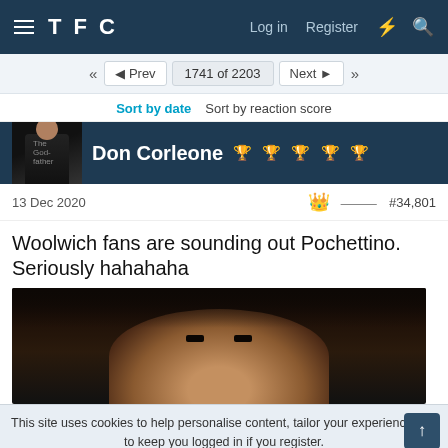TFC  Log in  Register
◄◄  ◄ Prev  1741 of 2203  Next ►  ►►
Sort by date   Sort by reaction score
Don Corleone 🏆🏆🏆🏆🏆
13 Dec 2020  #34,801
Woolwich fans are sounding out Pochettino. Seriously hahahaha
[Figure (photo): Dark close-up GIF/image of a man's face with eyes visible]
This site uses cookies to help personalise content, tailor your experience and to keep you logged in if you register.
By continuing to use this site, you are consenting to our use of cookies.
✓ ACCEPT   LEARN MORE...